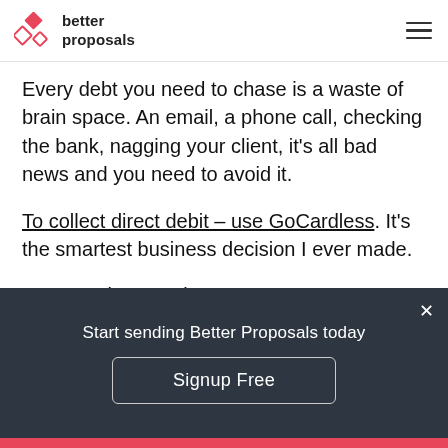better proposals
Every debt you need to chase is a waste of brain space. An email, a phone call, checking the bank, nagging your client, it's all bad news and you need to avoid it.
To collect direct debit – use GoCardless. It's the smartest business decision I ever made.
6. Non sales meetings are
Start sending Better Proposals today
Signup Free